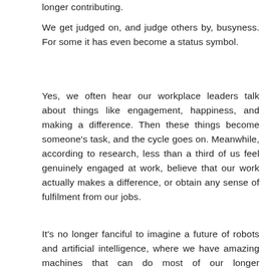longer contributing.
We get judged on, and judge others by, busyness. For some it has even become a status symbol.
Yes, we often hear our workplace leaders talk about things like engagement, happiness, and making a difference. Then these things become someone's task, and the cycle goes on. Meanwhile, according to research, less than a third of us feel genuinely engaged at work, believe that our work actually makes a difference, or obtain any sense of fulfilment from our jobs.
It's no longer fanciful to imagine a future of robots and artificial intelligence, where we have amazing machines that can do most of our longer contributing.